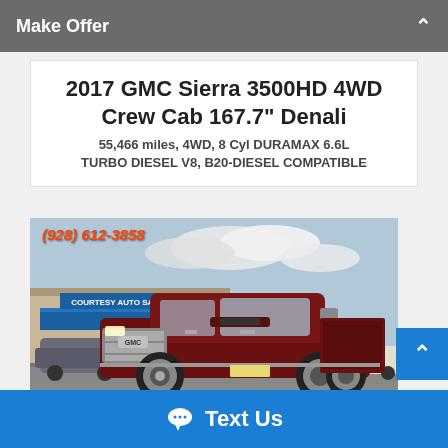Make Offer
2017 GMC Sierra 3500HD 4WD Crew Cab 167.7" Denali
55,466 miles, 4WD, 8 Cyl DURAMAX 6.6L TURBO DIESEL V8, B20-DIESEL COMPATIBLE
[Figure (photo): Red/maroon 2017 GMC Sierra 3500HD Denali truck parked in front of a Courtesy Auto Sales dealership. Phone number (928) 612-3858 overlaid in orange-red italic text.]
Text Us